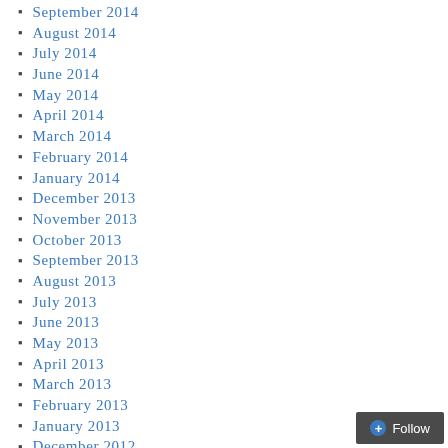September 2014
August 2014
July 2014
June 2014
May 2014
April 2014
March 2014
February 2014
January 2014
December 2013
November 2013
October 2013
September 2013
August 2013
July 2013
June 2013
May 2013
April 2013
March 2013
February 2013
January 2013
December 2012
November 2012
October 2012
September 2012